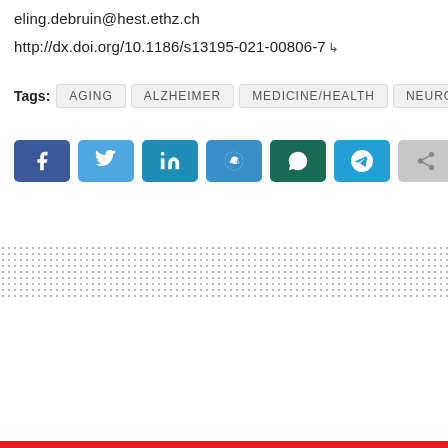eling.debruin@hest.ethz.ch
http://dx.doi.org/10.1186/s13195-021-00806-7
Tags: Aging  Alzheimer  Medicine/Health  Neurobiology
[Figure (other): Social share buttons: Facebook, Twitter, LinkedIn, Reddit, WhatsApp, Telegram, Share]
[Figure (other): Dotted decorative band across page width]